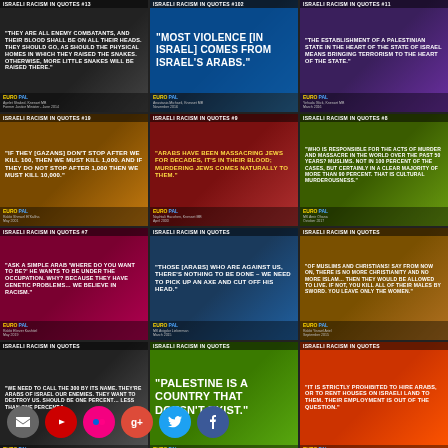[Figure (infographic): Grid of 12 quote cards from 'Israeli Racism in Quotes' series by EuroPal Forum, each showing a black-and-white photo of a person alongside a controversial quote attributed to an Israeli political or religious figure. Row 1: #13 quote about 'enemy combatants', #102 'Most violence in Israel comes from Israel's Arabs', #11 'Establishment of a Palestinian state means bringing terrorism.' Row 2: #19 quote about killing Gazans in escalating numbers, #9 Arabs massacring Jews, #8 responsibility for acts of murder. Row 3: #7 'Ask a simple Arab where do you want to be', 'Those Arabs who are against us...pick up an axe', quote about Muslims and Christians. Row 4: 'Need to call the 300 by its name' partially obscured by social media icons, 'Palestine is a country...exist', 'It is strictly prohibited to hire Arabs.' Social media icons overlay on bottom row.]